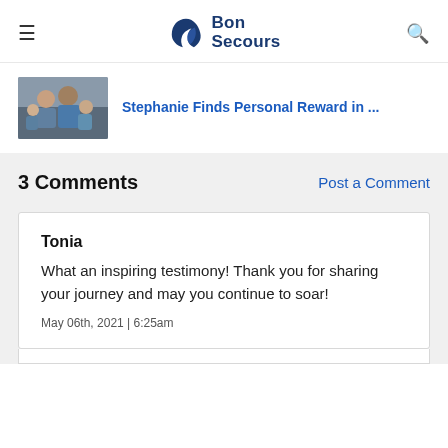Bon Secours
[Figure (photo): Family photo thumbnail showing a couple and two children]
Stephanie Finds Personal Reward in ...
3 Comments
Post a Comment
Tonia
What an inspiring testimony! Thank you for sharing your journey and may you continue to soar!
May 06th, 2021 | 6:25am